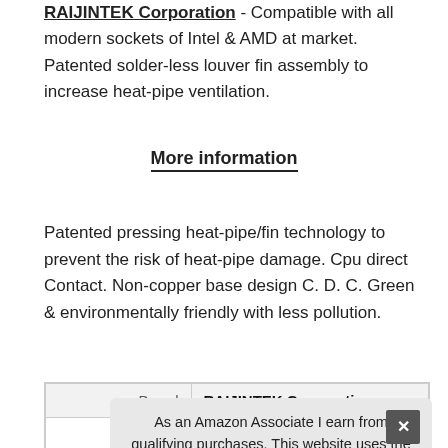RAIJINTEK Corporation - Compatible with all modern sockets of Intel & AMD at market. Patented solder-less louver fin assembly to increase heat-pipe ventilation.
More information
Patented pressing heat-pipe/fin technology to prevent the risk of heat-pipe damage. Cpu direct Contact. Non-copper base design C. D. C. Green & environmentally friendly with less pollution.
| Brand |  |
| --- | --- |
| Brand | RAIJINTEK Corporation |
| Ma... | ... |
As an Amazon Associate I earn from qualifying purchases. This website uses the only necessary cookies to ensure you get the best experience on our website. More information